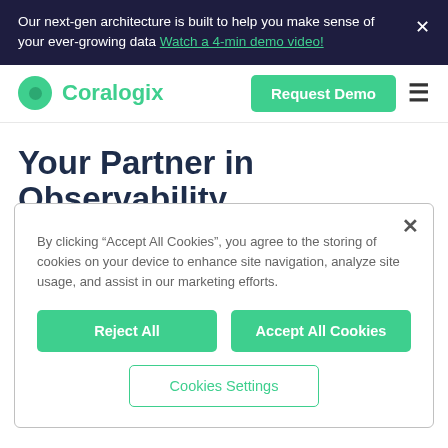Our next-gen architecture is built to help you make sense of your ever-growing data Watch a 4-min demo video!
[Figure (logo): Coralogix logo with green circle and brand name]
Your Partner in Observability
By clicking “Accept All Cookies”, you agree to the storing of cookies on your device to enhance site navigation, analyze site usage, and assist in our marketing efforts.
Reject All | Accept All Cookies | Cookies Settings
Under 30s Median Response Time